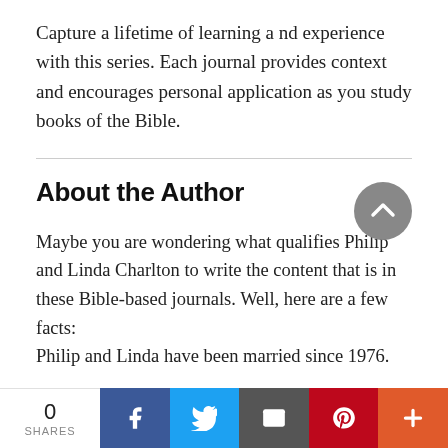Capture a lifetime of learning a nd experience with this series. Each journal provides context and encourages personal application as you study books of the Bible.
About the Author
Maybe you are wondering what qualifies Philip and Linda Charlton to write the content that is in these Bible-based journals. Well, here are a few facts:
Philip and Linda have been married since 1976.